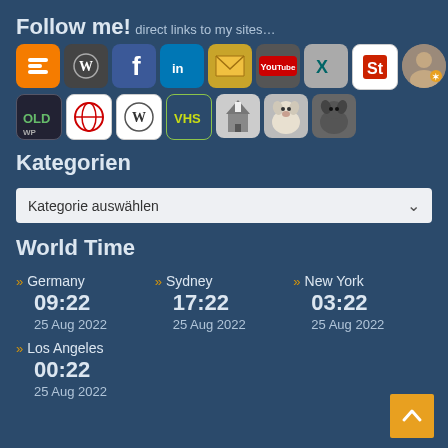Follow me!
direct links to my sites…
[Figure (infographic): Two rows of social media and website icon buttons: Blogger, WordPress, Facebook, LinkedIn, Email, YouTube, XING, StumbleUpon, Profile, WordPress Old, Globe/web, Wikipedia, VHS, Church, Dog, Dog2]
Kategorien
Kategorie auswählen
World Time
Germany 09:22 25 Aug 2022
Sydney 17:22 25 Aug 2022
New York 03:22 25 Aug 2022
Los Angeles 00:22 25 Aug 2022